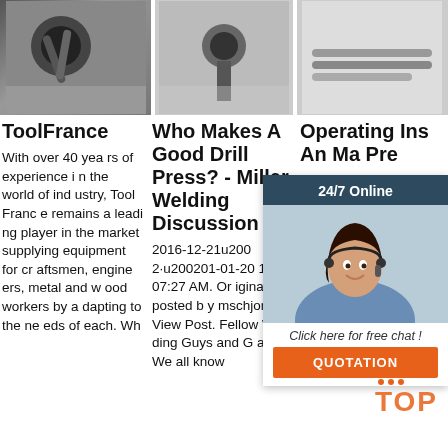[Figure (photo): Three product photos in a row: drill bits and metal tools on grey backgrounds]
ToolFrance
With over 40 years of experience in the world of industry, Tool France remains a leading player in the market supplying equipment for craftsmen, engineers, metal and wood workers by adapting to the needs of each. Wh
Who Makes A Good Drill Press? - Miller Welding Discussion ...
2016-12-21u2002·u200201-20-17, 07:27 AM. Originally posted by mschjone View Post. Fellow Welding Guys and Gals: We all know
Operating Instructions An Ma Pre
2012·u2002·u2002t us ss f its intended use. If used for other purposes, Walter Meier (Manufact uring) Inc. disclo